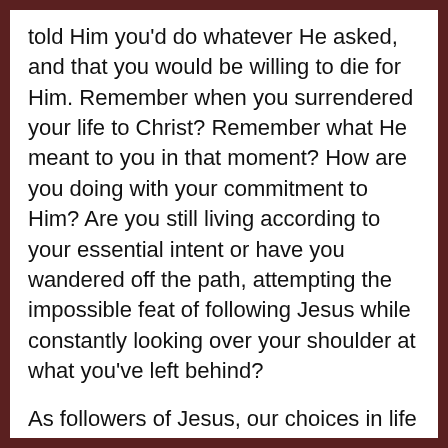told Him you'd do whatever He asked, and that you would be willing to die for Him. Remember when you surrendered your life to Christ? Remember what He meant to you in that moment? How are you doing with your commitment to Him? Are you still living according to your essential intent or have you wandered off the path, attempting the impossible feat of following Jesus while constantly looking over your shoulder at what you've left behind?
As followers of Jesus, our choices in life are simple. Ask yourself what Jesus would do in that same situation. Which choice allows you to look most like Him? Which decision will allow you to shine the love of